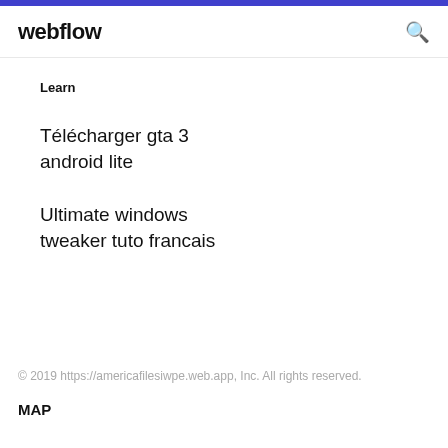webflow
Learn
Télécharger gta 3 android lite
Ultimate windows tweaker tuto francais
© 2019 https://americafilesiwpe.web.app, Inc. All rights reserved.
MAP